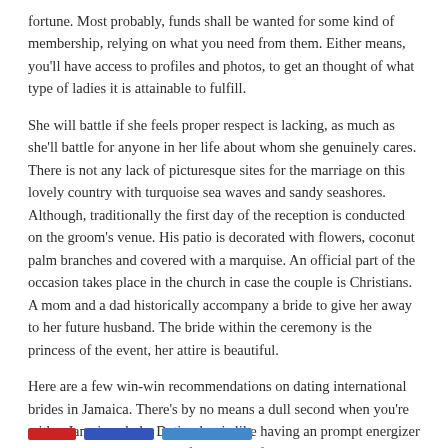fortune. Most probably, funds shall be wanted for some kind of membership, relying on what you need from them. Either means, you'll have access to profiles and photos, to get an thought of what type of ladies it is attainable to fulfill.
She will battle if she feels proper respect is lacking, as much as she'll battle for anyone in her life about whom she genuinely cares. There is not any lack of picturesque sites for the marriage on this lovely country with turquoise sea waves and sandy seashores. Although, traditionally the first day of the reception is conducted on the groom's venue. His patio is decorated with flowers, coconut palm branches and covered with a marquise. An official part of the occasion takes place in the church in case the couple is Christians. A mom and a dad historically accompany a bride to give her away to her future husband. The bride within the ceremony is the princess of the event, her attire is beautiful.
Here are a few win-win recommendations on dating international brides in Jamaica. There's by no means a dull second when you're with a Jamaican lady. Dating her is like having an prompt energizer that retains you going via life. Here are four uncompromising the reason why you want to date a reliable Jamaican mail order bride. Second, local husbands are not often loyal to their wives.
[Figure (other): Three colored bars at the bottom of the page: red, blue, and light blue]